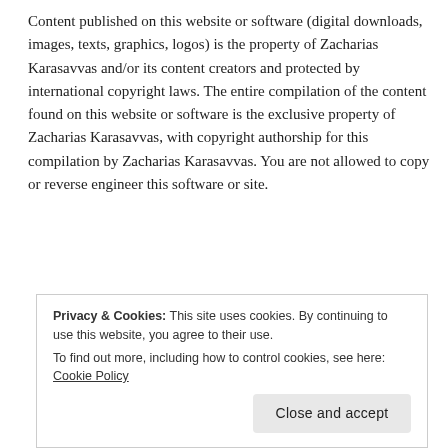Content published on this website or software (digital downloads, images, texts, graphics, logos) is the property of Zacharias Karasavvas and/or its content creators and protected by international copyright laws. The entire compilation of the content found on this website or software is the exclusive property of Zacharias Karasavvas, with copyright authorship for this compilation by Zacharias Karasavvas. You are not allowed to copy or reverse engineer this software or site.
[Figure (photo): Partially visible credit/membership cards (one black with '99% INVISIBLE' text in yellow, one blue) and a red circle icon at the bottom of the visible page area, partially obscured by a cookie consent banner.]
Privacy & Cookies: This site uses cookies. By continuing to use this website, you agree to their use.
To find out more, including how to control cookies, see here: Cookie Policy